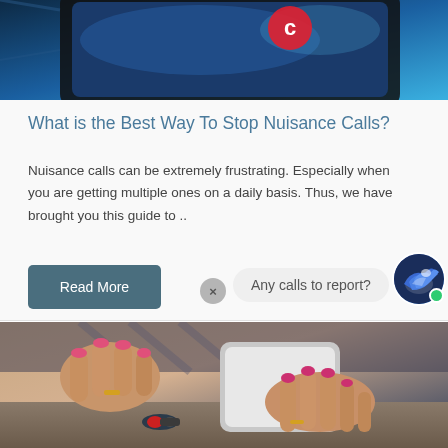[Figure (photo): Top portion showing a dark smartphone with a red phone icon on a blue/dark background]
What is the Best Way To Stop Nuisance Calls?
Nuisance calls can be extremely frustrating. Especially when you are getting multiple ones on a daily basis. Thus, we have brought you this guide to ..
Read More
Any calls to report?
[Figure (photo): Woman using a smartphone, hands visible with pink nails, car keys on table in background]